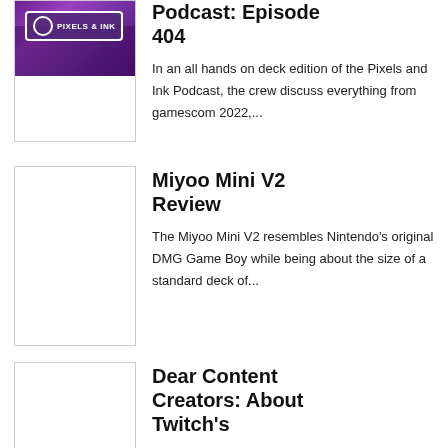[Figure (photo): Pixels & Ink logo badge over a crowd photo with purple lighting]
Podcast: Episode 404
In an all hands on deck edition of the Pixels and Ink Podcast, the crew discuss everything from gamescom 2022,...
[Figure (photo): White thumbnail placeholder for Miyoo Mini V2 Review]
Miyoo Mini V2 Review
The Miyoo Mini V2 resembles Nintendo's original DMG Game Boy while being about the size of a standard deck of...
[Figure (photo): White thumbnail placeholder for Dear Content Creators article]
Dear Content Creators: About Twitch's